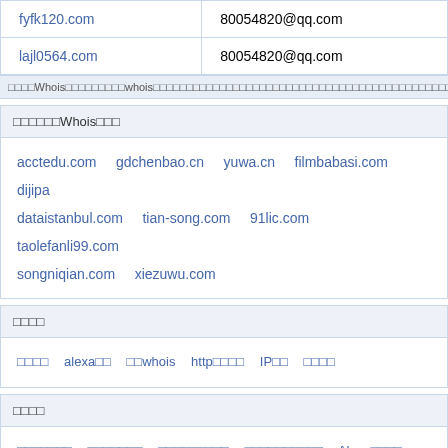| domain | email |
| --- | --- |
| fyfk120.com | 80054820@qq.com |
| lajl0564.com | 80054820@qq.com |
通过对Whois数据库中所有的whois信息进行分析，发现有如下域名和该域名使用了相同的whois信息，这些域名很可能属于同一所有人，如需要了解更多信息请查看whois
相同注册人的Whois域名
acctedu.com
gdchenbao.cn
yuwa.cn
filmbabasi.com
dijipa
dataistanbul.com
tian-song.com
91lic.com
taolefanli99.com
songniqian.com
xiezuwu.com
相关工具
域名查询
alexa排名
域名whois
http请求头
IP查询
网站测速
最新域名
国内顶级域名
国际顶级域名
最新注册域名
最新到期域名
Alexa排名提升
国际域名